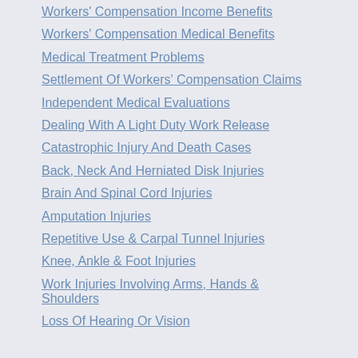Workers' Compensation Income Benefits
Workers' Compensation Medical Benefits
Medical Treatment Problems
Settlement Of Workers' Compensation Claims
Independent Medical Evaluations
Dealing With A Light Duty Work Release
Catastrophic Injury And Death Cases
Back, Neck And Herniated Disk Injuries
Brain And Spinal Cord Injuries
Amputation Injuries
Repetitive Use & Carpal Tunnel Injuries
Knee, Ankle & Foot Injuries
Work Injuries Involving Arms, Hands & Shoulders
Loss Of Hearing Or Vision